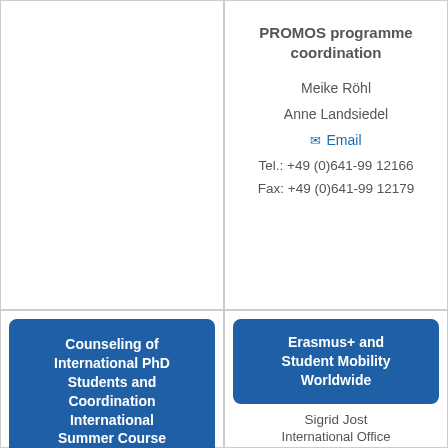PROMOS programme coordination
Meike Röhl
Anne Landsiedel
✉ Email
Tel.: +49 (0)641-99 12166
Fax: +49 (0)641-99 12179
Counseling of International PhD Students and Coordination International Summer Course
Erasmus+ and Student Mobility Worldwide
Sigrid Jost
International Office